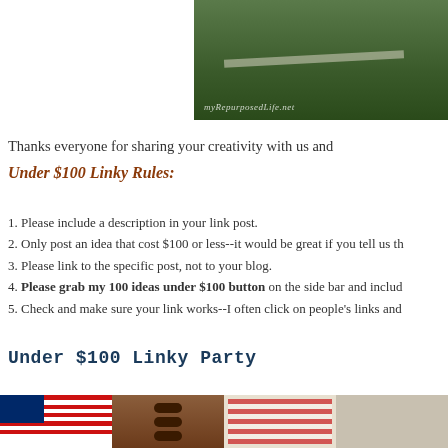[Figure (photo): Outdoor photo showing a table or bench on green grass with a watermark reading 'myRepurposedLife.net']
Thanks everyone for sharing your creativity with us and
Under $100 Linky Rules:
1. Please include a description in your link post.
2. Only post an idea that cost $100 or less--it would be great if you tell us th
3. Please link to the specific post, not to your blog.
4. Please grab my 100 ideas under $100 button on the side bar and includ
5. Check and make sure your link works--I often click on people's links and
Under $100 Linky Party
[Figure (photo): Painted wooden American flag with red and white stripes and blue canton with white stars]
[Figure (photo): Wooden abacus or rack with dark round beads/balls on wooden dowels]
[Figure (photo): Distressed decorative American flag art piece with patriotic star motif]
[Figure (photo): Partial view of a craft item, appears to be partially cropped]